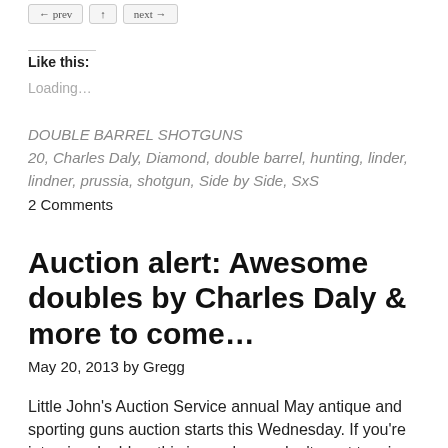Like this:
Loading…
DOUBLE BARREL SHOTGUNS
20, Charles Daly, Diamond, double barrel, hunting, linder, lindner, prussia, shotgun, Side by Side, SxS
2 Comments
Auction alert: Awesome doubles by Charles Daly & more to come…
May 20, 2013 by Gregg
Little John's Auction Service annual May antique and sporting guns auction starts this Wednesday. If you're into nice doubles, this is a sale you don't want to miss. It's a big